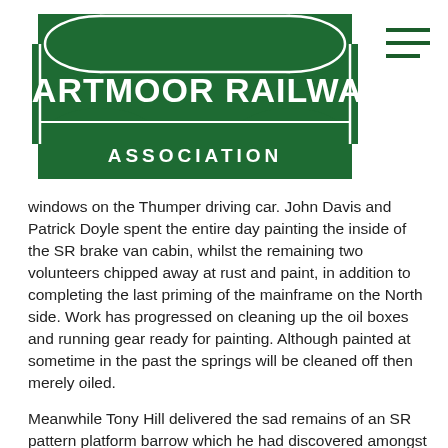[Figure (logo): Dartmoor Railway Association logo — green totem-style sign with white text reading DARTMOOR RAILWAY on top and ASSOCIATION on bottom panel]
windows on the Thumper driving car. John Davis and Patrick Doyle spent the entire day painting the inside of the SR brake van cabin, whilst the remaining two volunteers chipped away at rust and paint, in addition to completing the last priming of the mainframe on the North side. Work has progressed on cleaning up the oil boxes and running gear ready for painting. Although painted at sometime in the past the springs will be cleaned off then merely oiled.
Meanwhile Tony Hill delivered the sad remains of an SR pattern platform barrow which he had discovered amongst the bushes somewhere, apparently suffering from about 50 plus years of neglect. Basically only the steel frame and wheels have survived in good condition, with just a hint of oak framework remaining. It appears to be a similar model to the one currently displayed on Platform 1 at Okehampton. Delivery entailed opening the Western roller shutter door on the North side and the